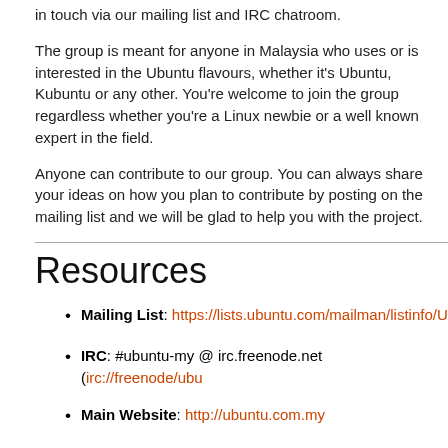in touch via our mailing list and IRC chatroom.
The group is meant for anyone in Malaysia who uses or is interested in the Ubuntu flavours, whether it's Ubuntu, Kubuntu or any other. You're welcome to join the group regardless whether you're a Linux newbie or a well known expert in the field.
Anyone can contribute to our group. You can always share your ideas on how you plan to contribute by posting on the mailing list and we will be glad to help you with the project.
Resources
Mailing List: https://lists.ubuntu.com/mailman/listinfo/U...
IRC: #ubuntu-my @ irc.freenode.net (irc://freenode/ubu...)
Main Website: http://ubuntu.com.my
User Forum: http://forums.ubuntu.com.my
Launchpad: https://launchpad.net/~malaysianteam/
Planet: http://planet.ubuntu.com.my